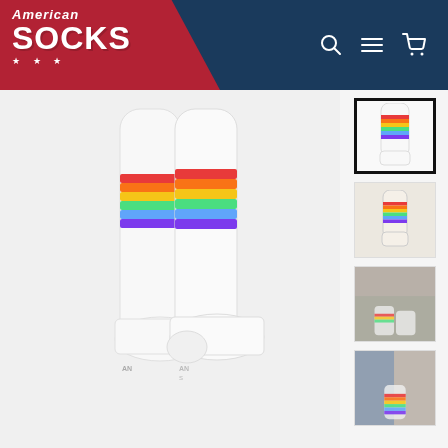[Figure (logo): American Socks brand logo with red and navy blue background, white text reading 'American SOCKS' with three stars below]
[Figure (photo): Main product image: white knee-high socks with rainbow stripes (red, orange, yellow, green, blue, purple) near the top, labeled 'American Socks' at the bottom]
[Figure (photo): Thumbnail 1 (selected): white knee-high socks with rainbow stripes on white background]
[Figure (photo): Thumbnail 2: white socks with rainbow stripes on light beige background]
[Figure (photo): Thumbnail 3: lifestyle photo of socks being worn, outdoor setting]
[Figure (photo): Thumbnail 4: lifestyle photo of person wearing rainbow socks, outdoor setting]